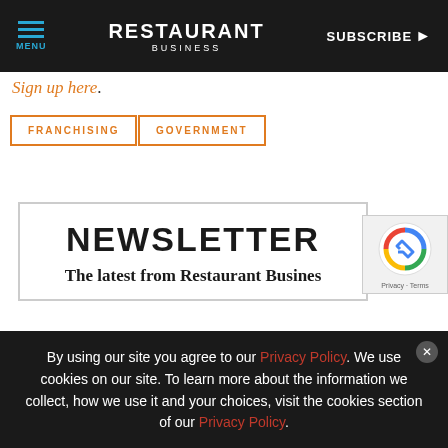MENU | RESTAURANT BUSINESS | SUBSCRIBE
Sign up here.
FRANCHISING
GOVERNMENT
NEWSLETTER
The latest from Restaurant Business,
By using our site you agree to our Privacy Policy. We use cookies on our site. To learn more about the information we collect, how we use it and your choices, visit the cookies section of our Privacy Policy.